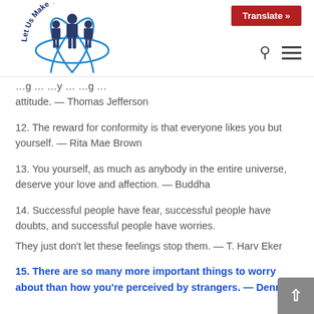[Figure (logo): Let Us Make You Rich website logo with circular text and businessmen silhouettes with atomic orbit design]
Translate » [search icon] [menu icon]
...g... ...y... ...g... attitude. — Thomas Jefferson
12. The reward for conformity is that everyone likes you but yourself. — Rita Mae Brown
13. You yourself, as much as anybody in the entire universe, deserve your love and affection. — Buddha
14. Successful people have fear, successful people have doubts, and successful people have worries. They just don't let these feelings stop them. — T. Harv Eker
15. There are so many more important things to worry about than how you're perceived by strangers. — Dennis